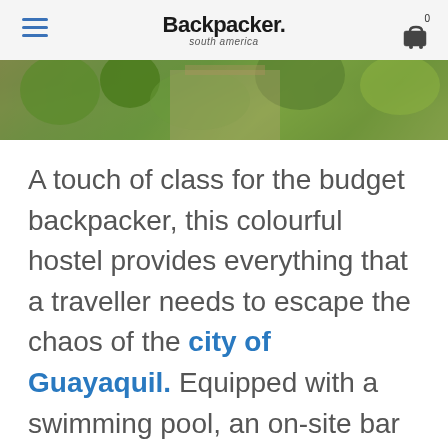Backpacker south america
[Figure (photo): Exterior photo of a hostel with lush green plants and a pathway, serving as a banner image]
A touch of class for the budget backpacker, this colourful hostel provides everything that a traveller needs to escape the chaos of the city of Guayaquil. Equipped with a swimming pool, an on-site bar and a beautiful patio area for socialising, you may find it difficult to tear